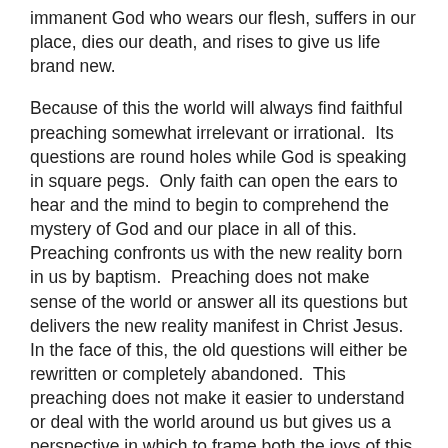immanent God who wears our flesh, suffers in our place, dies our death, and rises to give us life brand new.
Because of this the world will always find faithful preaching somewhat irrelevant or irrational.  Its questions are round holes while God is speaking in square pegs.  Only faith can open the ears to hear and the mind to begin to comprehend the mystery of God and our place in all of this.  Preaching confronts us with the new reality born in us by baptism.  Preaching does not make sense of the world or answer all its questions but delivers the new reality manifest in Christ Jesus.  In the face of this, the old questions will either be rewritten or completely abandoned.  This preaching does not make it easier to understand or deal with the world around us but gives us a perspective in which to frame both the joys of this world and its sorrows.
The problem is that too much preaching tries to answer the questions the Scriptures do not answer or reduces the Gospel to mere motivational encouragement that justifies and legitimizes the natural desires of the heart. Either way it is a square peg in a round hole that satisfies no one.  Look